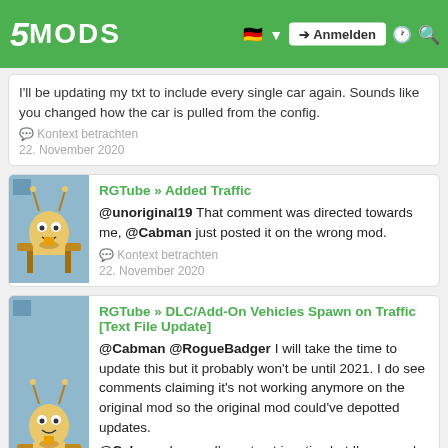5MODS | Anmelden
I'll be updating my txt to include every single car again. Sounds like you changed how the car is pulled from the config.
Kontext betrachten
22. November 2020
RGTube » Added Traffic
@unoriginal19 That comment was directed towards me, @Cabman just posted it on the wrong mod.
Kontext betrachten
22. November 2020
RGTube » DLC/Add-On Vehicles Spawn on Traffic [Text File Update]
@Cabman @RogueBadger I will take the time to update this but it probably won't be until 2021. I do see comments claiming it's not working anymore on the original mod so the original mod could've depotted updates.
@Cabman I mean I'm not not inactive but I'm around on other platforms.